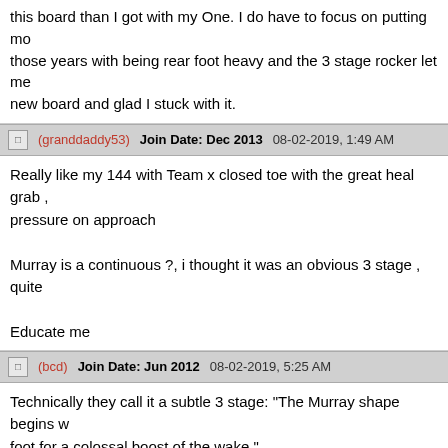this board than I got with my One. I do have to focus on putting mo... those years with being rear foot heavy and the 3 stage rocker let me... new board and glad I stuck with it.
(granddaddy53)  Join Date: Dec 2013  08-02-2019, 1:49 AM
Really like my 144 with Team x closed toe with the great heal grab , pressure on approach

Murray is a continuous ?, i thought it was an obvious 3 stage , quite

Educate me
(bcd)  Join Date: Jun 2012  08-02-2019, 5:25 AM
Technically they call it a subtle 3 stage: "The Murray shape begins w... foot for a colossal boost of the wake."
[Figure (screenshot): Post Reply button - blue gradient rounded rectangle button with pencil/paper icon]
[Figure (screenshot): Facebook Like button with Sign Up text: Sign Up to see what your friends like.]
« Pre
Posting Rules
You may not post new threads
You may not post replies
You may not post attachments
You may not edit your posts

BB code is On